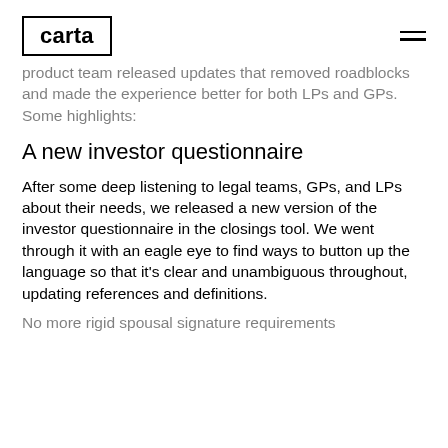carta
product team released updates that removed roadblocks and made the experience better for both LPs and GPs. Some highlights:
A new investor questionnaire
After some deep listening to legal teams, GPs, and LPs about their needs, we released a new version of the investor questionnaire in the closings tool. We went through it with an eagle eye to find ways to button up the language so that it's clear and unambiguous throughout, updating references and definitions.
No more rigid spousal signature requirements